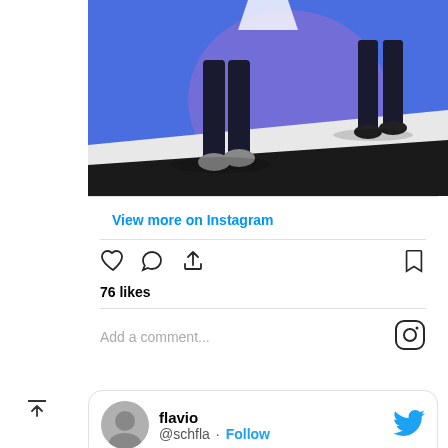[Figure (photo): Instagram photo showing legs and feet of people walking on a runway/stage with a purple/blue background]
View more on Instagram
[Figure (infographic): Instagram action icons: heart, comment bubble, share arrow, bookmark]
76 likes
Add a comment...
[Figure (logo): Instagram logo icon]
[Figure (infographic): Twitter card with user flavio @schfla, Follow button and Twitter bird logo]